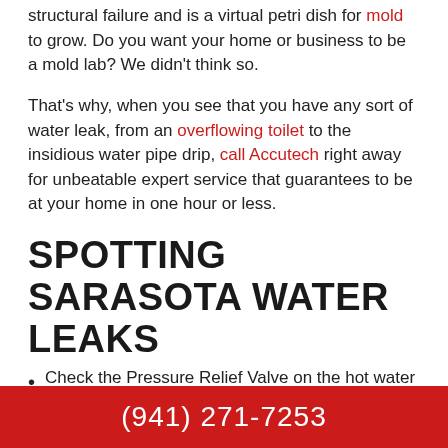structural failure and is a virtual petri dish for mold to grow. Do you want your home or business to be a mold lab? We didn't think so.
That's why, when you see that you have any sort of water leak, from an overflowing toilet to the insidious water pipe drip, call Accutech right away for unbeatable expert service that guarantees to be at your home in one hour or less.
SPOTTING SARASOTA WATER LEAKS
Check the Pressure Relief Valve on the hot water tank. Sometimes these valves are plumbed directly into a drain and may be leaking without you realizing it. If you can't remove the drain pipe to check for a leak, listen for a hissing sound. Always use all your senses to find water leaks in Sarasota.
Check the toilet for leaks by removing the top off the
(941) 271-7253